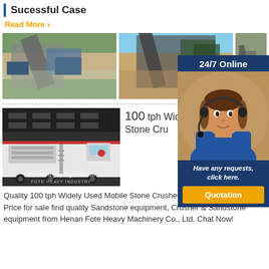Sucessful Case
Read More
[Figure (photo): Three photos of mining/crushing plant equipment and machinery outdoors]
[Figure (photo): 24/7 Online customer service agent with headset overlay panel with 'Have any requests, click here.' and Quotation button]
[Figure (photo): Mobile stone crusher / portable crushing plant with email Email:lmzgvip@gmail.com overlay and FOTE HEAVY INDUSTRY watermark]
100 tph Widely Used Mobile Stone Crusher Portable Crushing Plant Price Quality 100 tph Widely Used Mobile Stone Crusher Portable Crushing Plant Price for sale find quality Sandstone equipment, Crusher & Sandstone equipment from Henan Fote Heavy Machinery Co., Ltd. Chat Now!